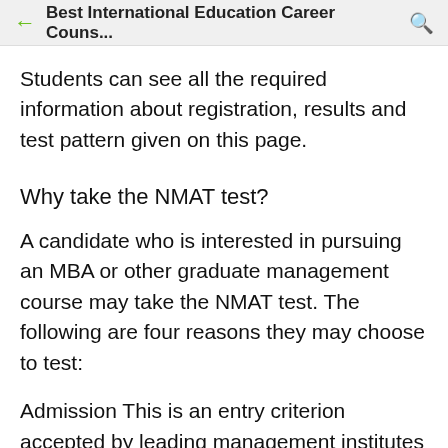Best International Education Career Couns...
Students can see all the required information about registration, results and test pattern given on this page.
Why take the NMAT test?
A candidate who is interested in pursuing an MBA or other graduate management course may take the NMAT test. The following are four reasons they may choose to test:
Admission This is an entry criterion accepted by leading management institutes in India.
The test is designed as per the convenience of the student. They can also choose a date, time